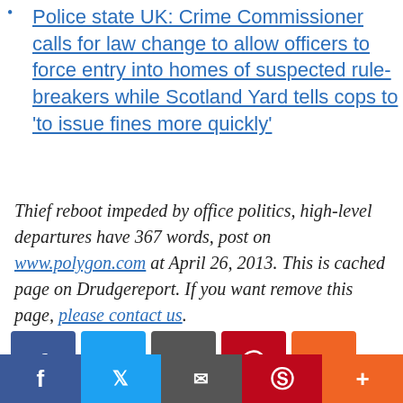Police state UK: Crime Commissioner calls for law change to allow officers to force entry into homes of suspected rule-breakers while Scotland Yard tells cops to 'to issue fines more quickly'
Thief reboot impeded by office politics, high-level departures have 367 words, post on www.polygon.com at April 26, 2013. This is cached page on Drudgereport. If you want remove this page, please contact us.
[Figure (infographic): Social share buttons: Facebook (blue), Twitter (light blue), Google+ (grey), Pinterest (red), More (orange)]
[Figure (infographic): Bottom bar with social share icons: Facebook, Twitter, email/envelope, Pinterest, More]